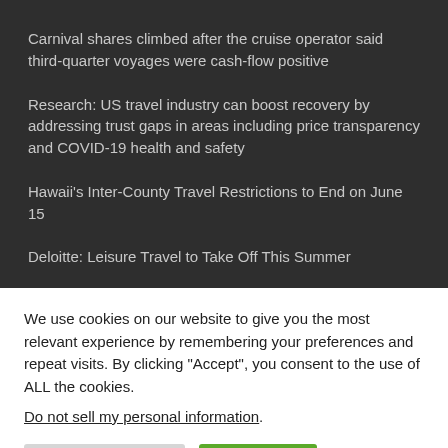Carnival shares climbed after the cruise operator said third-quarter voyages were cash-flow positive
Research: US travel industry can boost recovery by addressing trust gaps in areas including price transparency and COVID-19 health and safety
Hawaii's Inter-County Travel Restrictions to End on June 15
Deloitte: Leisure Travel to Take Off This Summer
We use cookies on our website to give you the most relevant experience by remembering your preferences and repeat visits. By clicking “Accept”, you consent to the use of ALL the cookies. Do not sell my personal information.